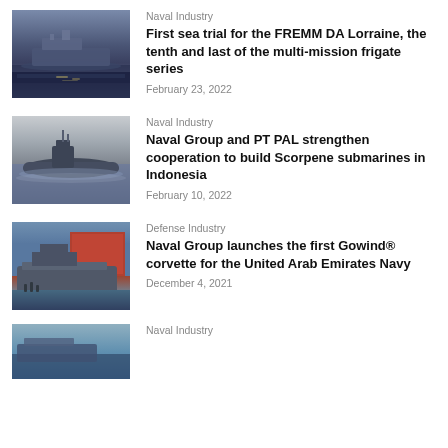[Figure (photo): Naval frigate ship on water at dusk with dim lights visible]
Naval Industry
First sea trial for the FREMM DA Lorraine, the tenth and last of the multi-mission frigate series
February 23, 2022
[Figure (photo): Submarine moving through ocean water surface]
Naval Industry
Naval Group and PT PAL strengthen cooperation to build Scorpene submarines in Indonesia
February 10, 2022
[Figure (photo): Large naval corvette vessel being launched at a shipyard with red building in background]
Defense Industry
Naval Group launches the first Gowind® corvette for the United Arab Emirates Navy
December 4, 2021
[Figure (photo): Partial view of a naval vessel on water]
Naval Industry